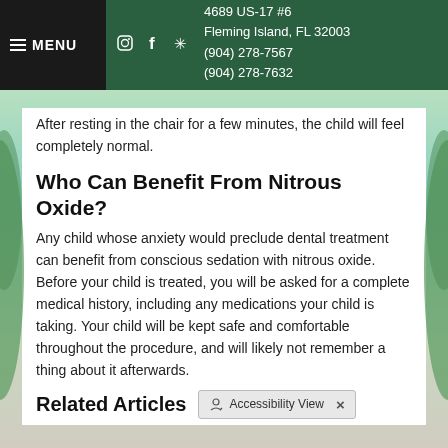MENU  4689 US-17 #6  Fleming Island, FL 32003  (904) 278-7567  (904) 278-7632
After resting in the chair for a few minutes, the child will feel completely normal.
Who Can Benefit From Nitrous Oxide?
Any child whose anxiety would preclude dental treatment can benefit from conscious sedation with nitrous oxide. Before your child is treated, you will be asked for a complete medical history, including any medications your child is taking. Your child will be kept safe and comfortable throughout the procedure, and will likely not remember a thing about it afterwards.
Related Articles